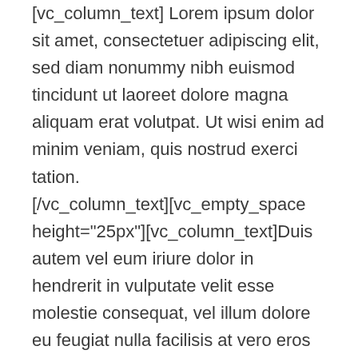[vc_column_text] Lorem ipsum dolor sit amet, consectetuer adipiscing elit, sed diam nonummy nibh euismod tincidunt ut laoreet dolore magna aliquam erat volutpat. Ut wisi enim ad minim veniam, quis nostrud exerci tation. [/vc_column_text][vc_empty_space height="25px"][vc_column_text]Duis autem vel eum iriure dolor in hendrerit in vulputate velit esse molestie consequat, vel illum dolore eu feugiat nulla facilisis at vero eros et accumsan et iusto odio dignissim qui blandit praesent luptatum zzril delenit augue duis dolore te feugait nulla facilisi. Nam liber tempor cum soluta nobis eleifend option congue nihil imperdiet doming id quod mazim placerat